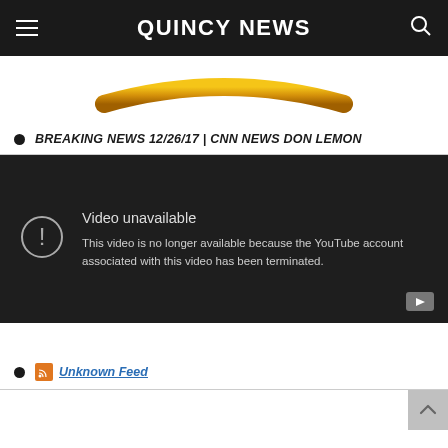QUINCY NEWS
[Figure (logo): Quincy News gold arc/swoosh logo graphic]
BREAKING NEWS 12/26/17 | CNN NEWS DON LEMON
[Figure (screenshot): YouTube video unavailable message: 'Video unavailable. This video is no longer available because the YouTube account associated with this video has been terminated.']
Unknown Feed